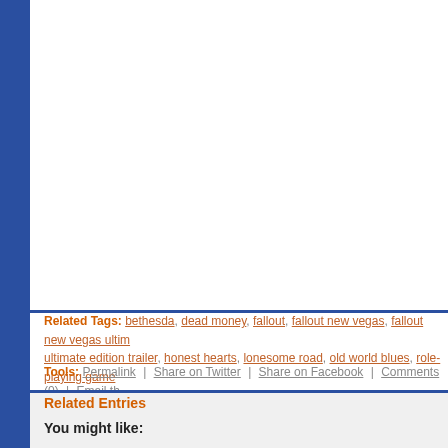Related Tags: bethesda, dead money, fallout, fallout new vegas, fallout new vegas ultimate edition trailer, honest hearts, lonesome road, old world blues, role-playing game
Tools: Permalink | Share on Twitter | Share on Facebook | Comments (0) | Email th...
Related Entries
You might like:
[Figure (photo): Thumbnail image showing partial view of an image with blue/grey tones]